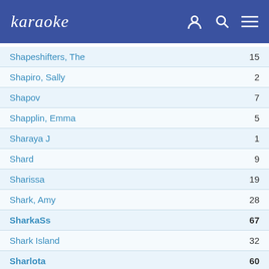karaoke
Shapeshifters, The  15
Shapiro, Sally  2
Shapov  7
Shapplin, Emma  5
Sharaya J  1
Shard  9
Sharissa  19
Shark, Amy  28
SharkaSs  67
Shark Island  32
Sharlota  60
Sharm  57